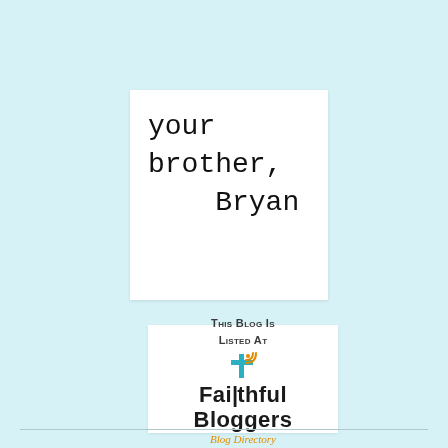your brother,
    Bryan
[Figure (logo): Faithful Bloggers Blog Directory logo with cross and RSS feed icon, text reads 'This Blog Is Listed At FAITHFUL BLOGGERS Blog Directory']